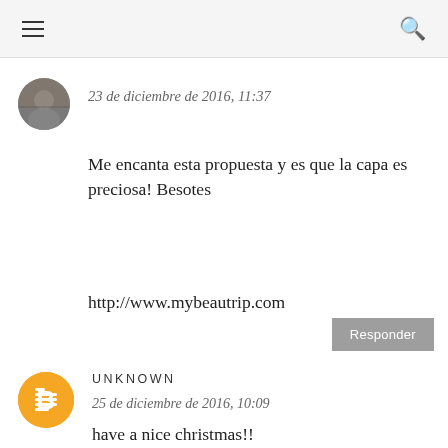≡  🔍
[Figure (photo): Circular avatar photo of a person, partially visible, dark tones]
23 de diciembre de 2016, 11:37
Me encanta esta propuesta y es que la capa es preciosa! Besotes
http://www.mybeautrip.com
Responder
[Figure (logo): Blogger icon — orange circle with white B letter inside]
UNKNOWN
25 de diciembre de 2016, 10:09
have a nice christmas!!